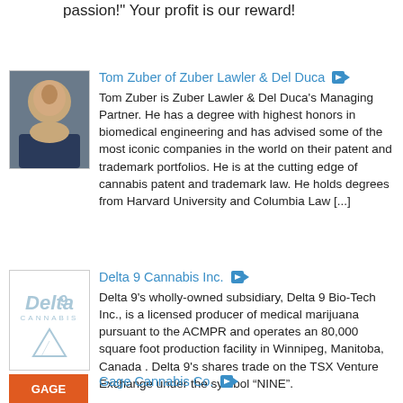passion!"  Your profit is our reward!
Tom Zuber of Zuber Lawler & Del Duca
Tom Zuber is Zuber Lawler & Del Duca's Managing Partner.  He has a degree with highest honors in biomedical engineering and has advised some of the most iconic companies in the world on their patent and trademark portfolios.  He is at the cutting edge of cannabis patent and trademark law.  He holds degrees from Harvard University and Columbia Law [...]
[Figure (photo): Headshot photo of Tom Zuber, a man in a suit]
Delta 9 Cannabis Inc.
Delta 9's wholly-owned subsidiary, Delta 9 Bio-Tech Inc., is a licensed producer of medical marijuana pursuant to the ACMPR and operates an 80,000 square foot production facility in Winnipeg, Manitoba, Canada . Delta 9's shares trade on the TSX Venture Exchange under the symbol “NINE”.
[Figure (logo): Delta 9 Cannabis Inc. logo with triangle graphic]
Gage Cannabis Co.
[Figure (logo): Gage Cannabis Co. logo on orange background]